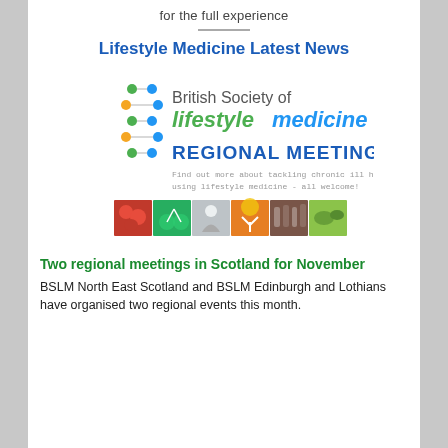for the full experience
[Figure (logo): British Society of Lifestyle Medicine logo with Regional Meetings banner and photo strip showing lifestyle images]
Lifestyle Medicine Latest News
Two regional meetings in Scotland for November
BSLM North East Scotland and BSLM Edinburgh and Lothians have organised two regional events this month.